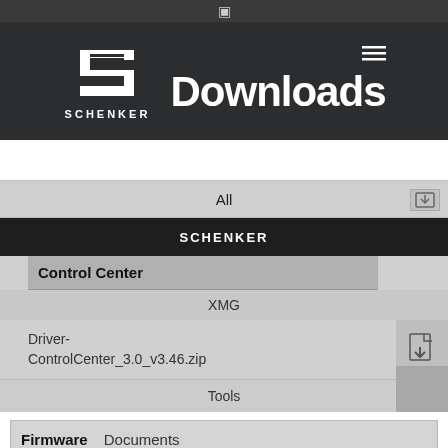[Figure (screenshot): Schenker Downloads page screenshot showing header with Schenker logo and Downloads title, navigation tabs (All, SCHENKER, XMG, Tools), a Control Center section with Driver-ControlCenter_3.0_v3.46.zip download entry, and Firmware/Documents tabs at bottom.]
All
SCHENKER
Control Center
XMG
Driver-ControlCenter_3.0_v3.46.zip
Tools
Firmware
Documents